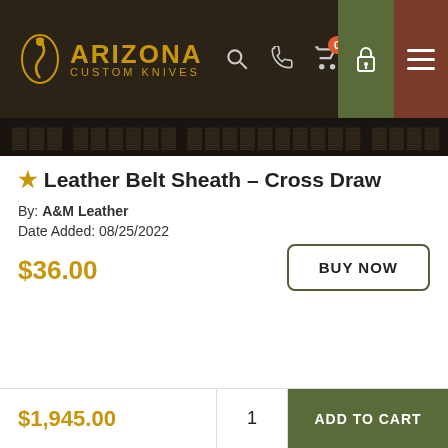[Figure (screenshot): Arizona Custom Knives website header with logo, search, phone, cart (badge: 0), lock icon, and hamburger menu on dark brown background]
★ Leather Belt Sheath – Cross Draw
By: A&M Leather
Date Added: 08/25/2022
$36.00
BUY NOW
$1,945.00   1   ADD TO CART